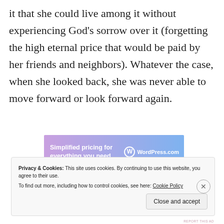it that she could live among it without experiencing God's sorrow over it (forgetting the high eternal price that would be paid by her friends and neighbors). Whatever the case, when she looked back, she was never able to move forward or look forward again.
[Figure (other): WordPress.com advertisement banner: 'Simplified pricing for everything you need.' with WordPress logo on gradient purple-blue background]
Privacy & Cookies: This site uses cookies. By continuing to use this website, you agree to their use.
To find out more, including how to control cookies, see here: Cookie Policy
Close and accept